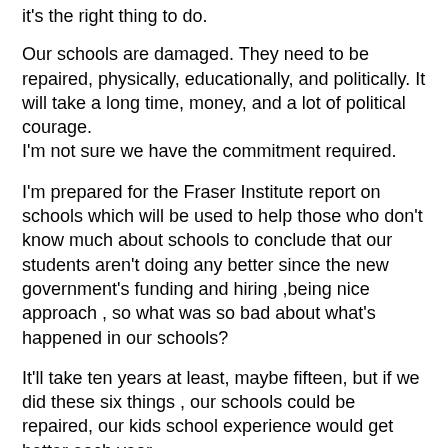it's the right thing to do.
Our schools are damaged. They need to be repaired, physically, educationally, and politically. It will take a long time, money, and a lot of political courage.
I'm not sure we have the commitment required.
I'm prepared for the Fraser Institute report on schools which will be used to help those who don't know much about schools to conclude that our students aren't doing any better since the new government's funding and hiring ,being nice approach , so what was so bad about what's happened in our schools?
It'll take ten years at least, maybe fifteen, but if we did these six things , our schools could be repaired, our kids school experience would get better each year.